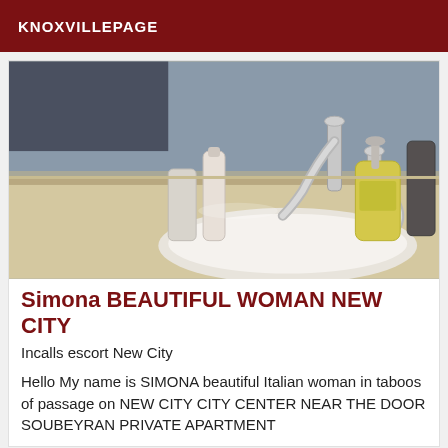KNOXVILLEPAGE
[Figure (photo): Close-up photo of a bathroom sink with chrome faucets, personal care product bottles and a soap dispenser on a beige countertop, with a mirror in the background.]
Simona BEAUTIFUL WOMAN NEW CITY
Incalls escort New City
Hello My name is SIMONA beautiful Italian woman in taboos of passage on NEW CITY CITY CENTER NEAR THE DOOR SOUBEYRAN PRIVATE APARTMENT